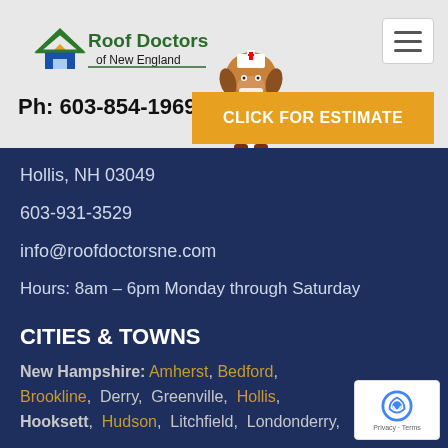[Figure (logo): Roof Doctors of New England logo with house icon]
Ph: 603-854-1969
CLICK FOR ESTIMATE
Hollis, NH 03049
603-931-3529
info@roofdoctorsne.com
Hours: 8am – 6pm Monday through Saturday
CITIES & TOWNS
New Hampshire: Amherst, Bedford, Brookline, Derry, Greenville, Hollis, Hooksett, Hudson, Litchfield, Londonderry,